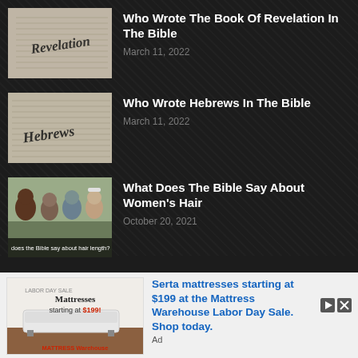[Figure (photo): Bible page showing the word 'Revelation' in bold italic text on open Bible pages]
Who Wrote The Book Of Revelation In The Bible
March 11, 2022
[Figure (photo): Bible page showing the word 'Hebrews' in bold italic text on open Bible pages]
Who Wrote Hebrews In The Bible
March 11, 2022
[Figure (photo): Group of diverse young women looking at something together, with caption 'does the Bible say about hair length?']
What Does The Bible Say About Women's Hair
October 20, 2021
[Figure (photo): Advertisement image for Mattress Warehouse showing a mattress with text 'Mattresses starting at $199!']
Serta mattresses starting at $199 at the Mattress Warehouse Labor Day Sale. Shop today.
Ad